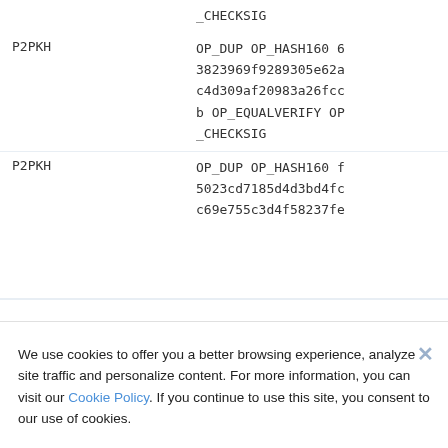| Type | Script |
| --- | --- |
|  | _CHECKSIG |
| P2PKH | OP_DUP OP_HASH160 63823969f9289305e62ac4d309af20983a26fccb OP_EQUALVERIFY OP_CHECKSIG |
| P2PKH | OP_DUP OP_HASH160 f5023cd7185d4d3bd4fcc69e755c3d4f58237fe |
We use cookies to offer you a better browsing experience, analyze site traffic and personalize content. For more information, you can visit our Cookie Policy. If you continue to use this site, you consent to our use of cookies.